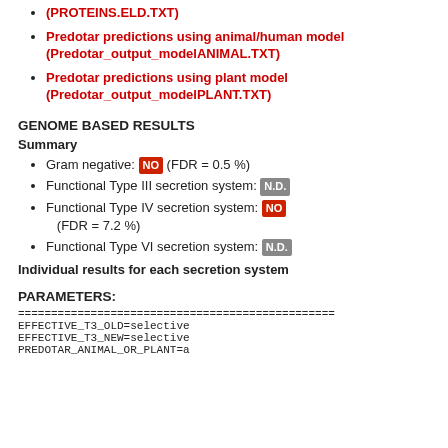Predotar predictions using animal/human model (Predotar_output_modelANIMAL.TXT)
Predotar predictions using plant model (Predotar_output_modelPLANT.TXT)
GENOME BASED RESULTS
Summary
Gram negative: NO (FDR = 0.5 %)
Functional Type III secretion system: N.D.
Functional Type IV secretion system: NO (FDR = 7.2 %)
Functional Type VI secretion system: N.D.
Individual results for each secretion system
PARAMETERS:
================================================
EFFECTIVE_T3_OLD=selective
EFFECTIVE_T3_NEW=selective
PREDOTAR_ANIMAL_OR_PLANT=a